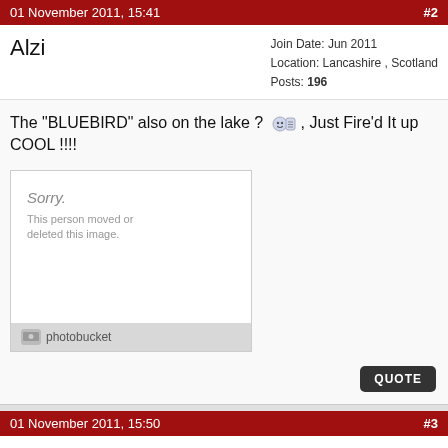01 November 2011, 15:41  #2
Alzi
Join Date: Jun 2011
Location: Lancashire , Scotland
Posts: 196
The "BLUEBIRD" also on the lake ? , Just Fire'd It up COOL !!!!
[Figure (photo): Broken/deleted image placeholder from Photobucket. Shows 'Sorry. This person moved or deleted this image.']
QUOTE
01 November 2011, 15:50  #3
Dirk Diggler
Join Date: Dec 2002
Location: Hamble
Posts: 2,317
certainly is, beautiful eh?
QUOTE